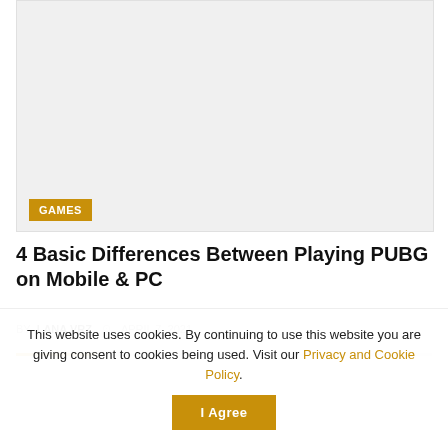[Figure (photo): Article thumbnail image area (gray placeholder) with a 'GAMES' badge in the lower left corner]
4 Basic Differences Between Playing PUBG on Mobile & PC
BY LANA VRZ  APRIL 7, 2021
This website uses cookies. By continuing to use this website you are giving consent to cookies being used. Visit our Privacy and Cookie Policy.
I Agree